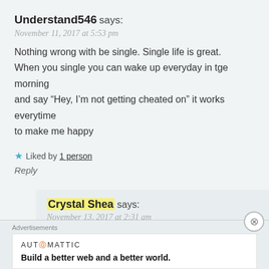Understand546 says:
November 11, 2017 at 5:53 pm
Nothing wrong with be single. Single life is great.
When you single you can wake up everyday in tge morning and say “Hey, I’m not getting cheated on” it works everytime to make me happy
★ Liked by 1 person
Reply
Crystal Shea says:
November 13, 2017 at 2:31 am
That’s another way of looking at it too. I think what makes me happy about being single is i can share
Advertisements
AUTOMATTIC
Build a better web and a better world.